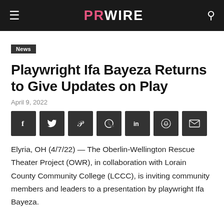PRWIRE
News
Playwright Ifa Bayeza Returns to Give Updates on Play
April 9, 2022
[Figure (other): Social sharing buttons: Facebook, Twitter, Pinterest, WhatsApp, LinkedIn, Reddit, Email]
Elyria, OH (4/7/22) — The Oberlin-Wellington Rescue Theater Project (OWR), in collaboration with Lorain County Community College (LCCC), is inviting community members and leaders to a presentation by playwright Ifa Bayeza.